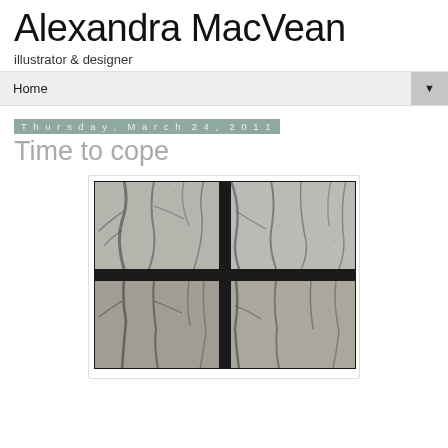Alexandra MacVean
illustrator & designer
Home ▼
Thursday, March 24, 2011
Time to cope
[Figure (photo): A photograph of bare winter trees viewed through a four-pane window with rain or condensation on the glass. The window frame is black and divides the image into four quadrants. The trees are grey and leafless against a pale sky.]